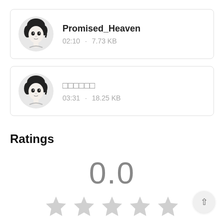[Figure (other): Card with anime avatar, title Promised_Heaven, meta 02:10 · 7.73 KB]
Promised_Heaven
02:10 · 7.73 KB
[Figure (other): Card with anime avatar, title in Japanese/Chinese characters, meta 03:31 · 18.25 KB]
□□□□□□
03:31 · 18.25 KB
Ratings
0.0
[Figure (other): Five empty/grey star rating icons]